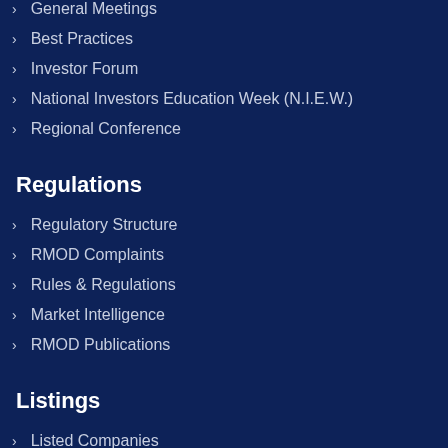General Meetings
Best Practices
Investor Forum
National Investors Education Week (N.I.E.W.)
Regional Conference
Regulations
Regulatory Structure
RMOD Complaints
Rules & Regulations
Market Intelligence
RMOD Publications
Listings
Listed Companies
Professional Advisors
Listing Process